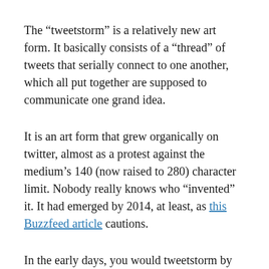The “tweetstorm” is a relatively new art form. It basically consists of a “thread” of tweets that serially connect to one another, which all put together are supposed to communicate one grand idea.
It is an art form that grew organically on twitter, almost as a protest against the medium’s 140 (now raised to 280) character limit. Nobody really knows who “invented” it. It had emerged by 2014, at least, as this Buzzfeed article cautions.
In the early days, you would tweetstorm by continuously replying to your own tweet, so the continuation of tweets would be read...